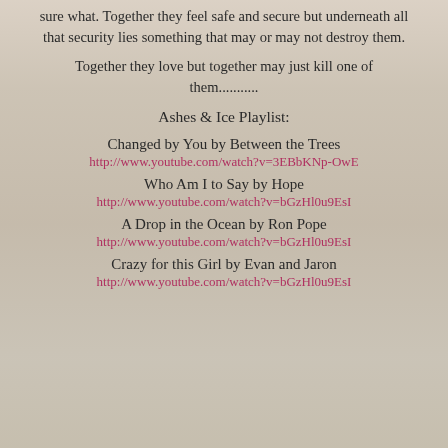sure what. Together they feel safe and secure but underneath all that security lies something that may or may not destroy them.
Together they love but together may just kill one of them...........
Ashes & Ice Playlist:
Changed by You by Between the Trees
http://www.youtube.com/watch?v=3EBbKNp-OwE
Who Am I to Say by Hope
http://www.youtube.com/watch?v=bGzHl0u9EsI
A Drop in the Ocean by Ron Pope
http://www.youtube.com/watch?v=bGzHl0u9EsI
Crazy for this Girl by Evan and Jaron
http://www.youtube.com/watch?v=bGzHl0u9EsI